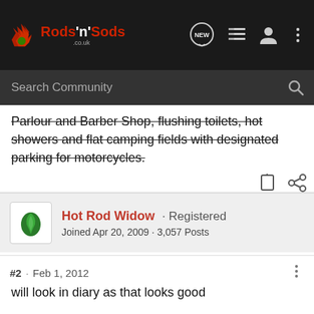Rods 'n' Sods - Navigation bar with search
Parlour and Barber Shop, flushing toilets, hot showers and flat camping fields with designated parking for motorcycles.
Hot Rod Widow · Registered
Joined Apr 20, 2009 · 3,057 Posts
#2 · Feb 1, 2012
will look in diary as that looks good